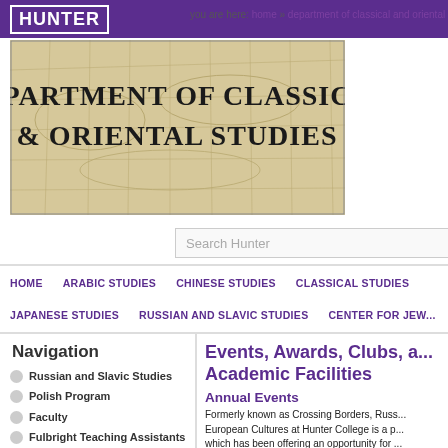HUNTER
you are here: home » department of classical and oriental studies » russian a...
[Figure (illustration): Banner image for Department of Classical & Oriental Studies with antique map background and serif text overlay reading 'Department of Classical & Oriental Studies']
Search Hunter
HOME   ARABIC STUDIES   CHINESE STUDIES   CLASSICAL STUDIES
JAPANESE STUDIES   RUSSIAN AND SLAVIC STUDIES   CENTER FOR JEW...
Navigation
Russian and Slavic Studies
Polish Program
Faculty
Fulbright Teaching Assistants
Academics
MA in Translation and...
Events, Awards, Clubs, a... Academic Facilities
Annual Events
Formerly known as Crossing Borders, Russ... European Cultures at Hunter College is a p... which has been offering an opportunity for ... artists, performers, filmmakers, scholars ar... thinkers from Russia and Eastern Europe t... their work in New York City for over a dec...